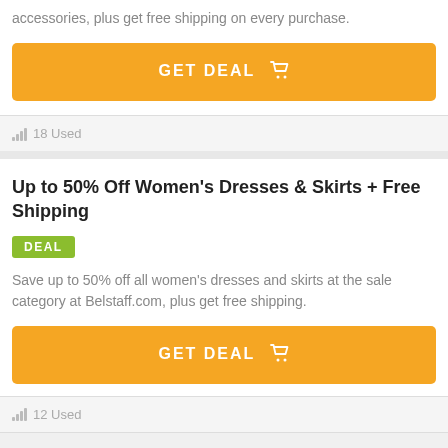accessories, plus get free shipping on every purchase.
[Figure (other): Orange GET DEAL button with shopping cart icon]
18 Used
Up to 50% Off Women's Dresses & Skirts + Free Shipping
DEAL
Save up to 50% off all women's dresses and skirts at the sale category at Belstaff.com, plus get free shipping.
[Figure (other): Orange GET DEAL button with shopping cart icon]
12 Used